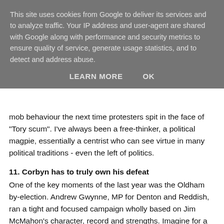This site uses cookies from Google to deliver its services and to analyze traffic. Your IP address and user-agent are shared with Google along with performance and security metrics to ensure quality of service, generate usage statistics, and to detect and address abuse.
LEARN MORE   OK
mob behaviour the next time protesters spit in the face of "Tory scum". I've always been a free-thinker, a political magpie, essentially a centrist who can see virtue in many political traditions - even the left of politics.
11. Corbyn has to truly own his defeat
One of the key moments of the last year was the Oldham by-election. Andrew Gwynne, MP for Denton and Reddish, ran a tight and focused campaign wholly based on Jim McMahon's character, record and strengths. Imagine for a moment if Chris Williamson, the former MP for Derby, had been selected and campaigned on an overtly pro-Corbyn anti-austerity platform, run by Momentum. I think he would have lost as he did in the General Election and where he forever